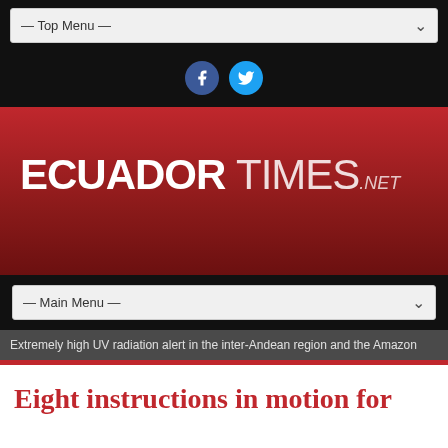— Top Menu —
[Figure (logo): Facebook and Twitter social media icons]
[Figure (logo): Ecuador Times .net logo on red gradient background]
— Main Menu —
Extremely high UV radiation alert in the inter-Andean region and the Amazon
Eight instructions in motion for